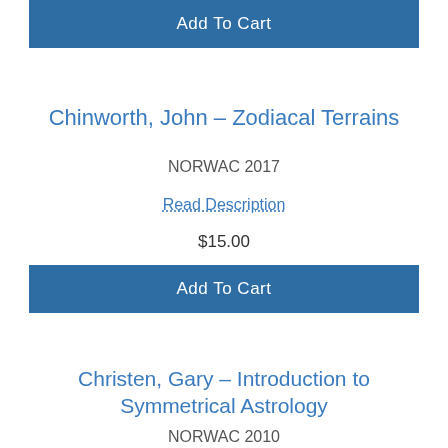Add To Cart
Chinworth, John – Zodiacal Terrains
NORWAC 2017
Read Description
$15.00
Add To Cart
Christen, Gary – Introduction to Symmetrical Astrology
NORWAC 2010